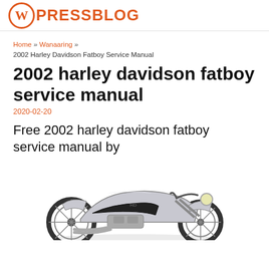WPRESSBLOG
Home » Wanaaring » 2002 Harley Davidson Fatboy Service Manual
2002 harley davidson fatboy service manual
2020-02-20
Free 2002 harley davidson fatboy service manual by
[Figure (photo): Photo of a silver Harley Davidson Fatboy motorcycle, side view, partially visible at the bottom of the page.]